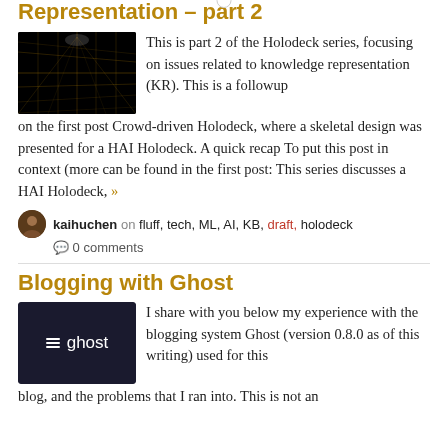Representation – part 2
[Figure (photo): A dark holodeck-style grid image with yellow/gold grid lines on black background]
This is part 2 of the Holodeck series, focusing on issues related to knowledge representation (KR). This is a followup on the first post Crowd-driven Holodeck, where a skeletal design was presented for a HAI Holodeck. A quick recap To put this post in context (more can be found in the first post: This series discusses a HAI Holodeck, »
kaihuchen on fluff, tech, ML, AI, KB, draft, holodeck
💬 0 comments
Blogging with Ghost
[Figure (logo): Ghost blogging platform logo — dark background with menu lines icon and 'ghost' text in white]
I share with you below my experience with the blogging system Ghost (version 0.8.0 as of this writing) used for this blog, and the problems that I ran into. This is not an